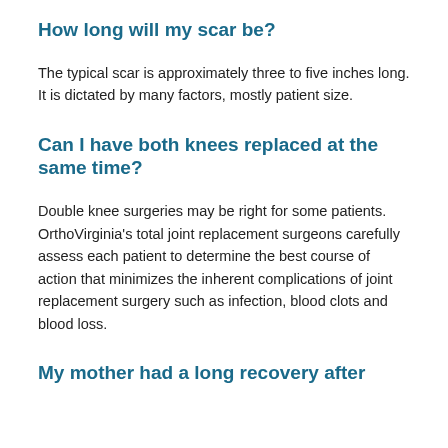How long will my scar be?
The typical scar is approximately three to five inches long. It is dictated by many factors, mostly patient size.
Can I have both knees replaced at the same time?
Double knee surgeries may be right for some patients. OrthoVirginia's total joint replacement surgeons carefully assess each patient to determine the best course of action that minimizes the inherent complications of joint replacement surgery such as infection, blood clots and blood loss.
My mother had a long recovery after